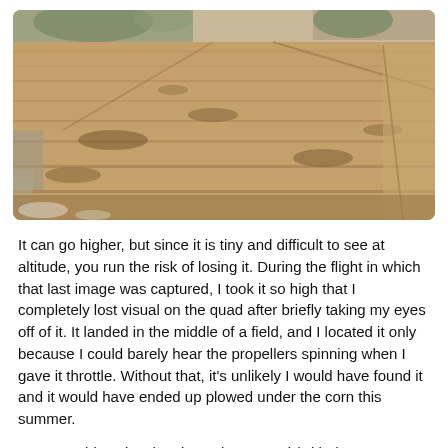[Figure (photo): Aerial photograph taken from a drone showing a large agricultural field with dry brown grass/crops. Houses and trees are visible in the background at the top of the image. The field shows some shallow depressions or water channels.]
It can go higher, but since it is tiny and difficult to see at altitude, you run the risk of losing it. During the flight in which that last image was captured, I took it so high that I completely lost visual on the quad after briefly taking my eyes off of it. It landed in the middle of a field, and I located it only because I could barely hear the propellers spinning when I gave it throttle. Without that, it's unlikely I would have found it and it would have ended up plowed under the corn this summer.
Here's a video showing the Hubsan quad (with the 808 camera attached) and some in-flight video: